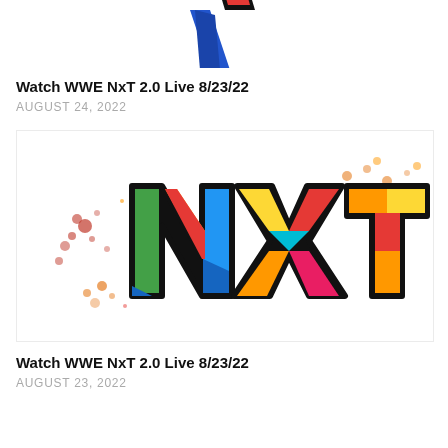[Figure (logo): Partial NXT 2.0 logo visible at top of page, cropped]
Watch WWE NxT 2.0 Live 8/23/22
AUGUST 24, 2022
[Figure (logo): WWE NXT 2.0 colorful logo with paint splash background on white]
Watch WWE NxT 2.0 Live 8/23/22
AUGUST 23, 2022